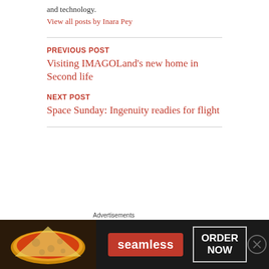and technology.
View all posts by Inara Pey
PREVIOUS POST
Visiting IMAGOLand's new home in Second life
NEXT POST
Space Sunday: Ingenuity readies for flight
ONE THOUGHT ON “DOCKING AT RESILIENT STATION IN SECOND LIFE”
[Figure (other): Seamless food delivery advertisement banner with pizza image, Seamless logo in red, and ORDER NOW button]